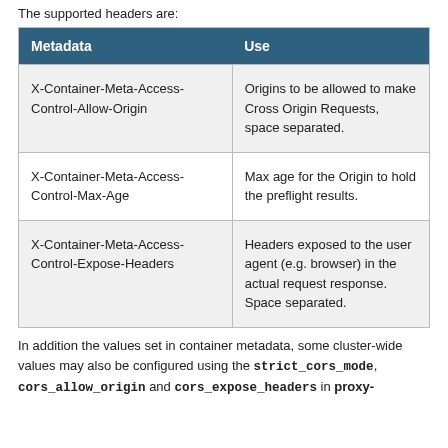The supported headers are:
| Metadata | Use |
| --- | --- |
| X-Container-Meta-Access-Control-Allow-Origin | Origins to be allowed to make Cross Origin Requests, space separated. |
| X-Container-Meta-Access-Control-Max-Age | Max age for the Origin to hold the preflight results. |
| X-Container-Meta-Access-Control-Expose-Headers | Headers exposed to the user agent (e.g. browser) in the actual request response. Space separated. |
In addition the values set in container metadata, some cluster-wide values may also be configured using the strict_cors_mode, cors_allow_origin and cors_expose_headers in proxy-